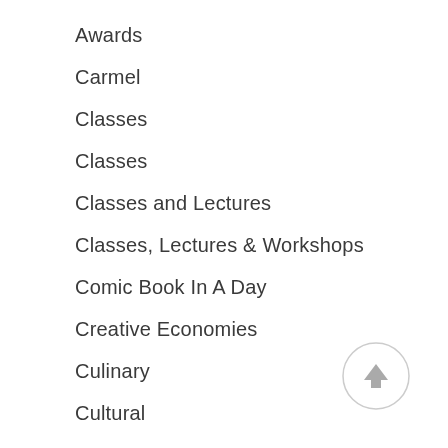Awards
Carmel
Classes
Classes
Classes and Lectures
Classes, Lectures & Workshops
Comic Book In A Day
Creative Economies
Culinary
Cultural
Donors & Sponsors
[Figure (illustration): Back to top button: circular button with upward-pointing arrow]